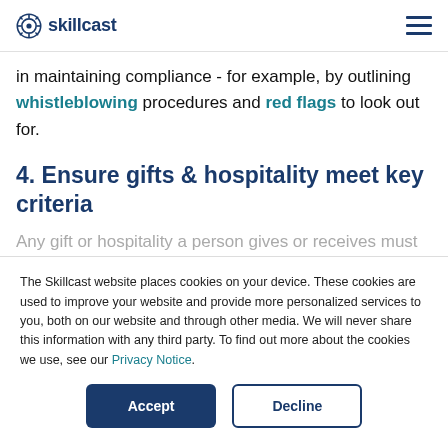skillcast
in maintaining compliance - for example, by outlining whistleblowing procedures and red flags to look out for.
4. Ensure gifts & hospitality meet key criteria
Any gift or hospitality a person gives or receives must
The Skillcast website places cookies on your device. These cookies are used to improve your website and provide more personalized services to you, both on our website and through other media. We will never share this information with any third party. To find out more about the cookies we use, see our Privacy Notice.